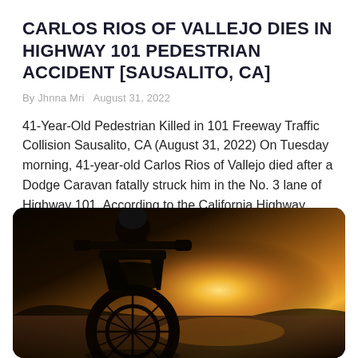CARLOS RIOS OF VALLEJO DIES IN HIGHWAY 101 PEDESTRIAN ACCIDENT [SAUSALITO, CA]
By Jhnna Mri  August 31, 2022
41-Year-Old Pedestrian Killed in 101 Freeway Traffic Collision Sausalito, CA (August 31, 2022) On Tuesday morning, 41-year-old Carlos Rios of Vallejo died after a Dodge Caravan fatally struck him in the No. 3 lane of Highway 101. According to the California Highway Patrol, the fatal traffic collision happened at around 4:35 a.m. at the Spencer [...]
[Figure (photo): Motorcycle front wheel silhouette against a golden sunset sky, taken from low angle]